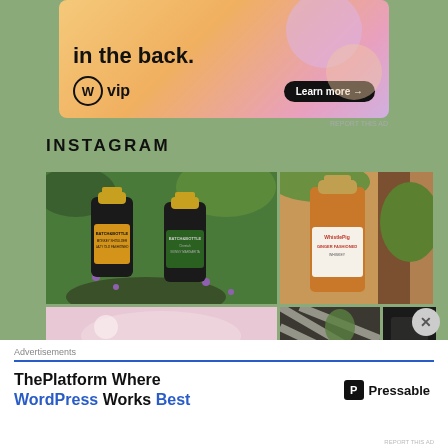[Figure (screenshot): WordPress VIP advertisement banner with gradient background (orange-pink-purple), text 'in the back.' at top, WordPress logo with 'vip' text, and 'Learn more →' button]
INSTAGRAM
[Figure (photo): Instagram grid showing four photos: two Batch & Bottle liquor bottles in a garden setting with purple flowers; a WhistlePig Ginger Fashioned whiskey bottle against a tree; a partial pink drink photo; a striped/pattern close-up photo; and a dark partial photo]
[Figure (screenshot): Bottom advertisement for Pressable - 'ThePlatform Where WordPress Works Best' with Pressable logo on white background]
Advertisements